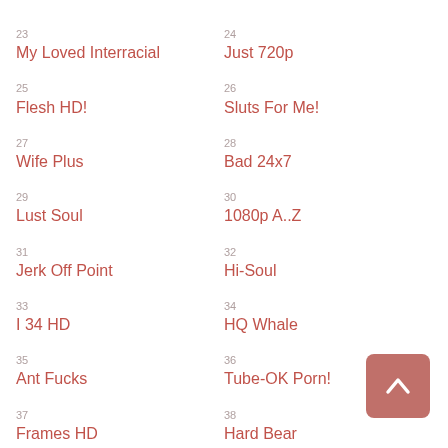23
My Loved Interracial
24
Just 720p
25
Flesh HD!
26
Sluts For Me!
27
Wife Plus
28
Bad 24x7
29
Lust Soul
30
1080p A..Z
31
Jerk Off Point
32
Hi-Soul
33
I 34 HD
34
HQ Whale
35
Ant Fucks
36
Tube-OK Porn!
37
Frames HD
38
Hard Bear
39
40